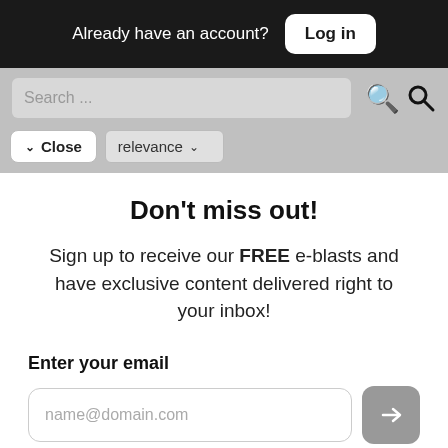Already have an account? Log in
[Figure (screenshot): Search bar with placeholder text 'Search ...' and a search icon on a grey background]
[Figure (screenshot): Filter bar with 'Close' button and 'relevance' dropdown on grey background]
Don't miss out!
Sign up to receive our FREE e-blasts and have exclusive content delivered right to your inbox!
Enter your email
name@domain.com
OR SIGN UP WITH